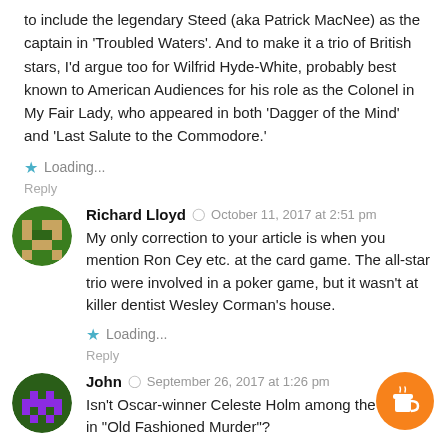to include the legendary Steed (aka Patrick MacNee) as the captain in 'Troubled Waters'. And to make it a trio of British stars, I'd argue too for Wilfrid Hyde-White, probably best known to American Audiences for his role as the Colonel in My Fair Lady, who appeared in both 'Dagger of the Mind' and 'Last Salute to the Commodore.'
Loading...
Reply
Richard Lloyd  October 11, 2017 at 2:51 pm
My only correction to your article is when you mention Ron Cey etc. at the card game. The all-star trio were involved in a poker game, but it wasn't at killer dentist Wesley Corman's house.
Loading...
Reply
John  September 26, 2017 at 1:26 pm
Isn't Oscar-winner Celeste Holm among the support in "Old Fashioned Murder"?